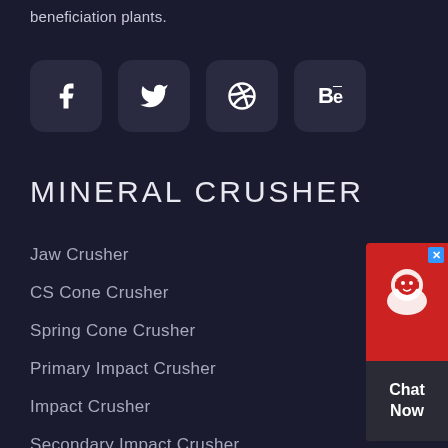beneficiation plants.
[Figure (other): Four social media icon buttons: Facebook (f), Twitter (bird), Dribbble (ball), Behance (Be)]
MINERAL CRUSHER
Jaw Crusher
CS Cone Crusher
Spring Cone Crusher
Primary Impact Crusher
Impact Crusher
Secondary Impact Crusher
[Figure (other): Red chat widget on right side with headset icon and 'Chat Now' text on dark background]